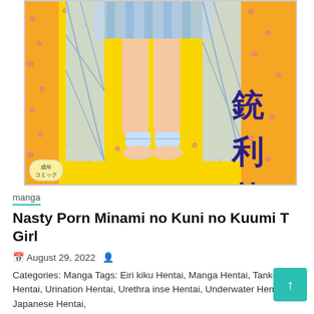[Figure (illustration): Manga book cover with orange/yellow floral background, Japanese characters 銃利菊 in dark blue on the right side, illustrated character legs visible, blue striped fabric, pink flower pattern, small label reading 成年コミック in bottom left corner]
manga
Nasty Porn Minami no Kuni no Kuumi T Girl
August 29, 2022
Categories: Manga Tags: Eiri kiku Hentai, Manga Hentai, Tankoubon Hentai, Urination Hentai, Urethra inse Hentai, Underwater Hentai, Japanese Hentai,